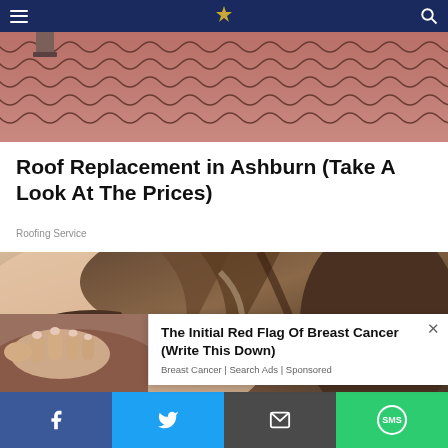Navigation bar with hamburger menu, logo, and search icon
[Figure (photo): Overhead view of red/pink terracotta roof tiles]
Roof Replacement in Ashburn (Take A Look At The Prices)
Roofing Service
[Figure (photo): Close-up of a woman's eye and hair]
[Figure (photo): Woman's hand pressed against brown leather surface]
The Initial Red Flag Of Breast Cancer (Write This Down)
Breast Cancer | Search Ads | Sponsored
Social share bar with Facebook, Twitter, Email, and SMS buttons